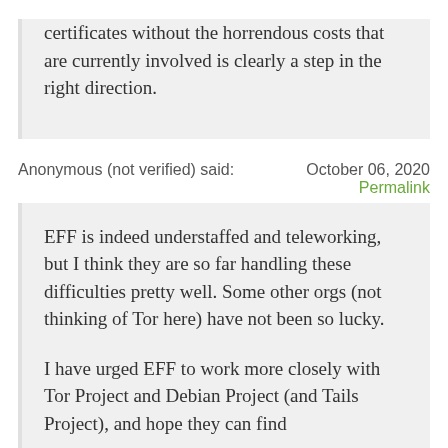certificates without the horrendous costs that are currently involved is clearly a step in the right direction.
Anonymous (not verified) said:	October 06, 2020
Permalink
EFF is indeed understaffed and teleworking, but I think they are so far handling these difficulties pretty well. Some other orgs (not thinking of Tor here) have not been so lucky.

I have urged EFF to work more closely with Tor Project and Debian Project (and Tails Project), and hope they can find